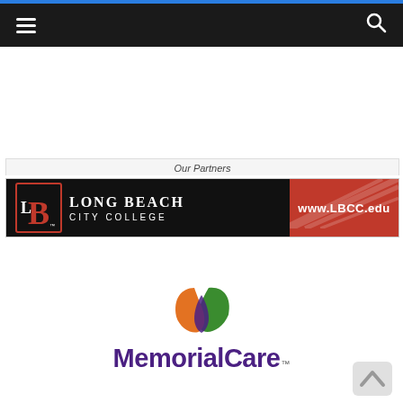[Figure (screenshot): Dark navigation bar with hamburger menu icon on left and search icon on right, with blue top border]
Our Partners
[Figure (logo): Long Beach City College banner logo with black background on left showing stylized B and LONG BEACH CITY COLLEGE text, and red background on right with www.LBCC.edu]
[Figure (logo): MemorialCare logo with colorful leaf/wing icon above, MemorialCare wordmark in purple and green]